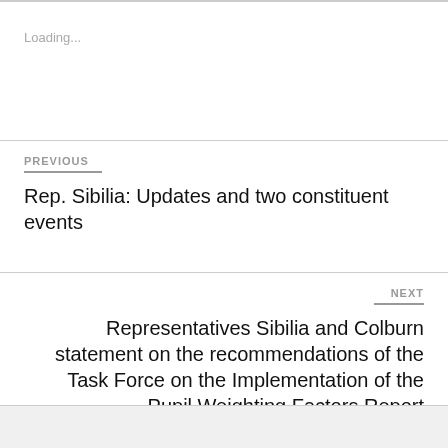Loading...
PREVIOUS
Rep. Sibilia: Updates and two constituent events
NEXT
Representatives Sibilia and Colburn statement on the recommendations of the Task Force on the Implementation of the Pupil Weighting Factors Report